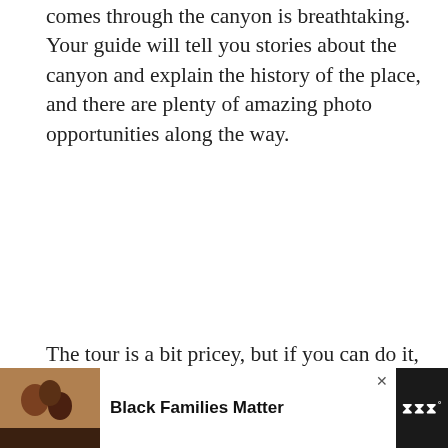comes through the canyon is breathtaking. Your guide will tell you stories about the canyon and explain the history of the place, and there are plenty of amazing photo opportunities along the way.
The tour is a bit pricey, but if you can do it, go for it! You will be glad you did. It really is an interesting different kind of hike. The hike itself isn't far you go at a very slow pace, so assuming you get down the sometimes-steep stairs and back up again, you should be fine.
[Figure (screenshot): A 'What's Next' content recommendation widget showing '14 Amazing Things To D...' with a thumbnail image of a scenic location.]
[Figure (screenshot): An advertisement banner with photo of people smiling, text 'Black Families Matter' in bold, a close button, and a logo on the right side.]